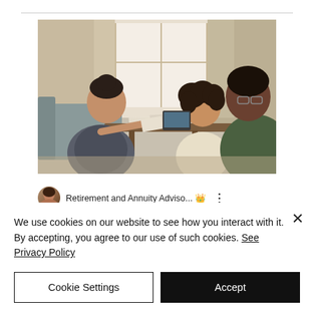[Figure (photo): A financial advisor sitting across a coffee table handing documents to a couple (a woman with curly hair and a man in a green jacket) in a living room setting with a large window in the background.]
Retirement and Annuity Adviso... 👑 ⋮
We use cookies on our website to see how you interact with it. By accepting, you agree to our use of such cookies. See Privacy Policy
Cookie Settings
Accept